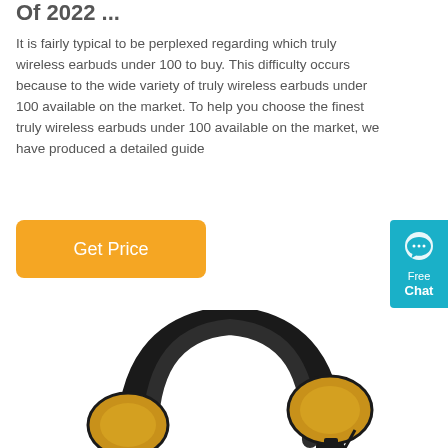Of 2022 ...
It is fairly typical to be perplexed regarding which truly wireless earbuds under 100 to buy. This difficulty occurs because to the wide variety of truly wireless earbuds under 100 available on the market. To help you choose the finest truly wireless earbuds under 100 available on the market, we have produced a detailed guide
[Figure (other): Orange 'Get Price' button]
[Figure (other): Teal 'Free Chat' widget with chat bubble icon on the right edge]
[Figure (photo): Photo of black and yellow over-ear headphones/earmuffs with a padded headband, partially cropped at bottom of page]